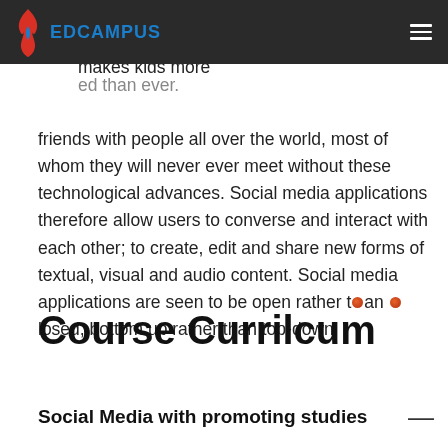EDCAMPUS
from adults. Teachers and adults are no longer the only sources of knowledge. It makes kids more informed than ever. It is easier for kids to make friends with people all over the world, most of whom they will never ever meet without these technological advances. Social media applications therefore allow users to converse and interact with each other; to create, edit and share new forms of textual, visual and audio content. Social media applications are seen to be open rather than closed, bottom up rather than top-down.
Course Currilcum
Social Media with promoting studies —